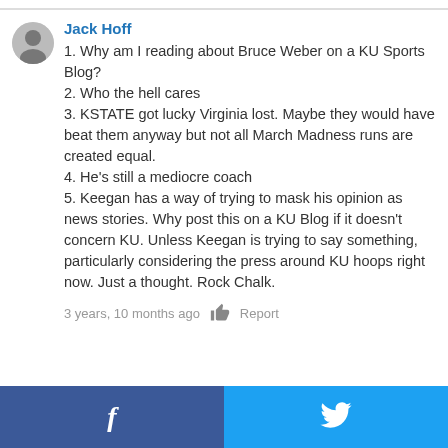Jack Hoff
1. Why am I reading about Bruce Weber on a KU Sports Blog?
2. Who the hell cares
3. KSTATE got lucky Virginia lost. Maybe they would have beat them anyway but not all March Madness runs are created equal.
4. He's still a mediocre coach
5. Keegan has a way of trying to mask his opinion as news stories. Why post this on a KU Blog if it doesn't concern KU. Unless Keegan is trying to say something, particularly considering the press around KU hoops right now. Just a thought. Rock Chalk.
3 years, 10 months ago   Report